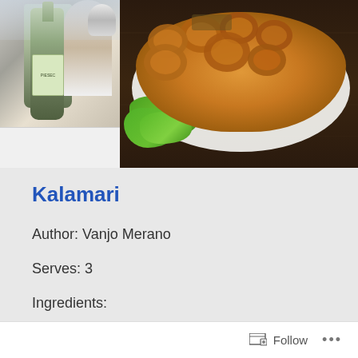[Figure (photo): Two photos side by side: left shows a person in white clothing with a champagne bottle and trophy, right shows a plate of deep-fried calamari rings on lettuce on a dark wooden table]
Kalamari
Author: Vanjo Merano
Serves: 3
Ingredients:
Follow ...